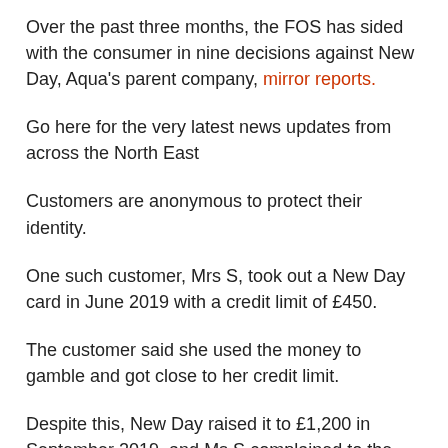Over the past three months, the FOS has sided with the consumer in nine decisions against New Day, Aqua's parent company, mirror reports.
Go here for the very latest news updates from across the North East
Customers are anonymous to protect their identity.
One such customer, Mrs S, took out a New Day card in June 2019 with a credit limit of £450.
The customer said she used the money to gamble and got close to her credit limit.
Despite this, New Day raised it to £1,200 in September 2019, and Ms S complained to the FOS that the company should have prevented this.